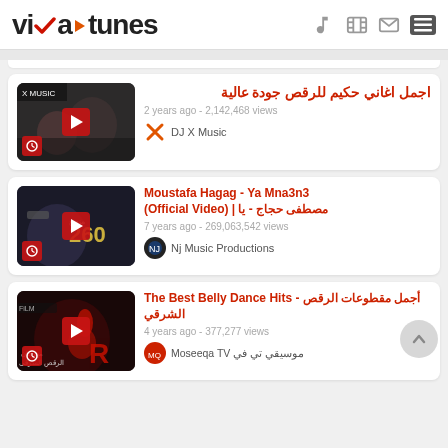vixa tunes
[Figure (screenshot): Video thumbnail 1: music video scene with two people]
اجمل اغاني حكيم للرقص جودة عالية
2 years ago - 2,142,468 views
DJ X Music
[Figure (screenshot): Video thumbnail 2: Moustafa Hagag music video with 260 text]
Moustafa Hagag - Ya Mna3n3 (Official Video) | مصطفى حجاج - يا
7 years ago - 269,063,542 views
Nj Music Productions
[Figure (screenshot): Video thumbnail 3: belly dance performance]
The Best Belly Dance Hits - أجمل مقطوعات الرقص الشرقي
4 years ago - 377,277 views
موسيقي تي في Moseeqa TV